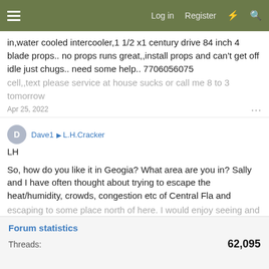Log in  Register
in,water cooled intercooler,1 1/2 x1 century drive 84 inch 4 blade props.. no props runs great,,install props and can't get off idle just chugs.. need some help.. 7706056075
cell,,text please service at house sucks or call me 8 to 3 tomorrow
Apr 25, 2022
Dave1 ▶ L.H.Cracker
LH

So, how do you like it in Geogia? What area are you in? Sally and I have often thought about trying to escape the heat/humidity, crowds, congestion etc of Central Fla and escaping to some place north of here. I would enjoy seeing and feeling the four seasons of the year instead of the few
Mar 18, 2022
Forum statistics
Threads:  62,095